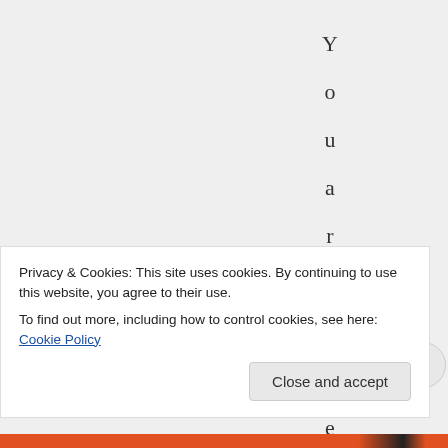Y o u a r e a v e g
Privacy & Cookies: This site uses cookies. By continuing to use this website, you agree to their use.
To find out more, including how to control cookies, see here: Cookie Policy
Close and accept